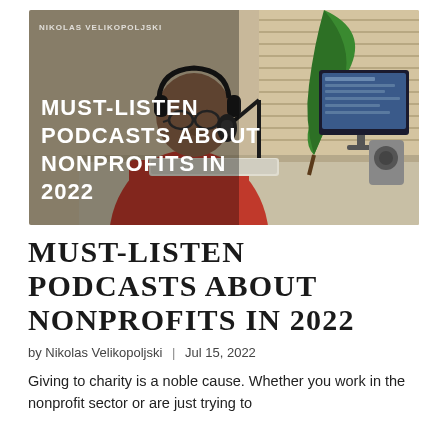[Figure (photo): A person wearing headphones and glasses sits at a desk with a microphone on an arm, typing on a keyboard in front of a monitor. A large green leaf plant is visible in the background. Text overlay reads 'MUST-LISTEN PODCASTS ABOUT NONPROFITS IN 2022' in bold white. Small text in top-left corner reads 'NIKOLAS VELIKOPOLJSKI'.]
MUST-LISTEN PODCASTS ABOUT NONPROFITS IN 2022
by Nikolas Velikopoljski | Jul 15, 2022
Giving to charity is a noble cause. Whether you work in the nonprofit sector or are just trying to